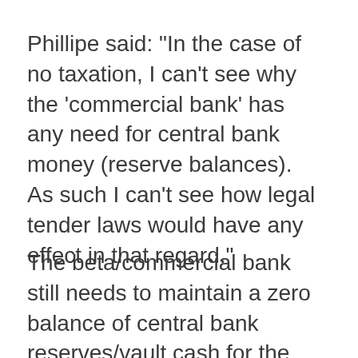Phillipe said: "In the case of no taxation, I can't see why the 'commercial bank' has any need for central bank money (reserve balances). As such I can't see how legal tender laws would have any effect in that regard."
The beta/commercial bank still needs to maintain a zero balance of central bank reserves/vault cash for the alpha bank requirement. In this case, the desired level and required level are both zero. Assume a 5% risk-free overnight rate. The alpha bank buys a bond/sells central bank...